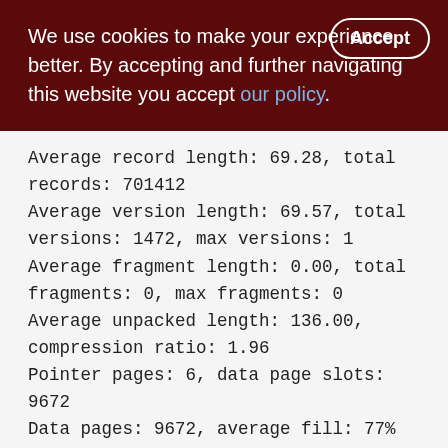We use cookies to make your experience better. By accepting and further navigating this website you accept our policy.
Average record length: 69.28, total records: 701412
Average version length: 69.57, total versions: 1472, max versions: 1
Average fragment length: 0.00, total fragments: 0, max fragments: 0
Average unpacked length: 136.00, compression ratio: 1.96
Pointer pages: 6, data page slots: 9672
Data pages: 9672, average fill: 77%
Primary pages: 9672, secondary pages: 0, swept pages: 7406